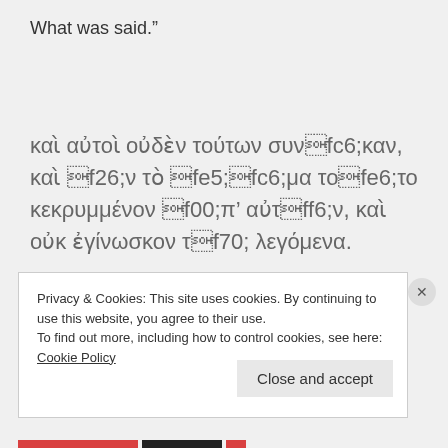What was said.”
καὶ αὐτοὶ οὐδὲν τούτων συνῆκαν, καὶ ἦν τὸ ῥῆμα τοῦτο κεκρυμμένον ἀπ’ αὐτῶν, καὶ οὐκ ἐγίνωσκον τὰ λεγόμενα.
Privacy & Cookies: This site uses cookies. By continuing to use this website, you agree to their use.
To find out more, including how to control cookies, see here: Cookie Policy
Close and accept